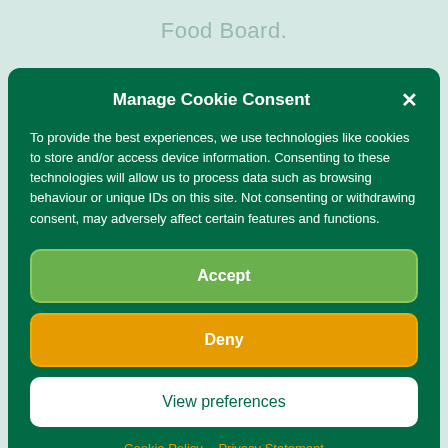Food Board.
Manage Cookie Consent
To provide the best experiences, we use technologies like cookies to store and/or access device information. Consenting to these technologies will allow us to process data such as browsing behaviour or unique IDs on this site. Not consenting or withdrawing consent, may adversely affect certain features and functions.
Accept
Deny
View preferences
Cookie Policy   Privacy Statement